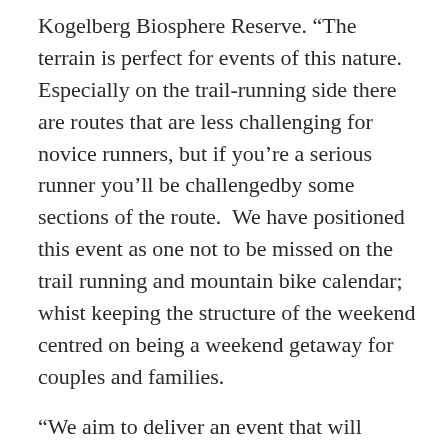Kogelberg Biosphere Reserve. “The terrain is perfect for events of this nature. Especially on the trail-running side there are routes that are less challenging for novice runners, but if you’re a serious runner you’ll be challengedby some sections of the route.  We have positioned this event as one not to be missed on the trail running and mountain bike calendar; whist keeping the structure of the weekend centred on being a weekend getaway for couples and families.
“We aim to deliver an event that will become synonymous with the 5-star quality that the Arabella Hotel and Spa has become so well known for, and through these events grow the destination as South Africa’s true home of adventure sport.”